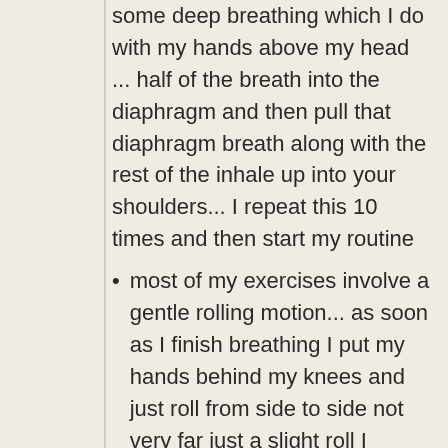some deep breathing which I do with my hands above my head ... half of the breath into the diaphragm and then pull that diaphragm breath along with the rest of the inhale up into your shoulders... I repeat this 10 times and then start my routine
most of my exercises involve a gentle rolling motion... as soon as I finish breathing I put my hands behind my knees and just roll from side to side not very far just a slight roll I started with 10 and now I do 50 of these each morning...which really wakes up the spine. then I proceed with a dozen or so other exercises.
my biggest discovery was that if I skipped a day my body quickly went back to unstable, blurred mind, and a so-so attitude for that day,